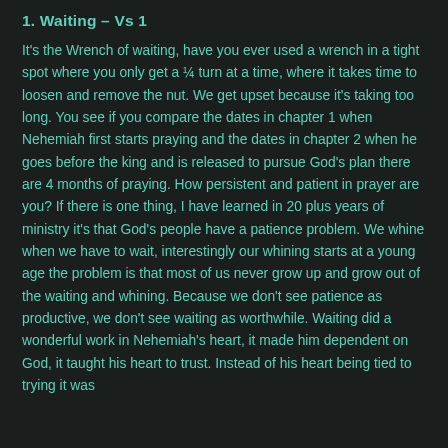1. Waiting – Vs 1
It's the Wrench of waiting, have you ever used a wrench in a tight spot where you only get a ¼ turn at a time, where it takes time to loosen and remove the nut. We get upset because it's taking too long. You see if you compare the dates in chapter 1 when Nehemiah first starts praying and the dates in chapter 2 when he goes before the king and is released to pursue God's plan there are 4 months of praying. How persistent and patient in prayer are you? If there is one thing, I have learned in 20 plus years of ministry it's that God's people have a patience problem. We whine when we have to wait, interestingly our whining starts at a young age the problem is that most of us never grow up and grow out of the waiting and whining. Because we don't see patience as productive, we don't see waiting as worthwhile. Waiting did a wonderful work in Nehemiah's heart, it made him dependent on God, it taught his heart to trust. Instead of his heart being tied to trying it was